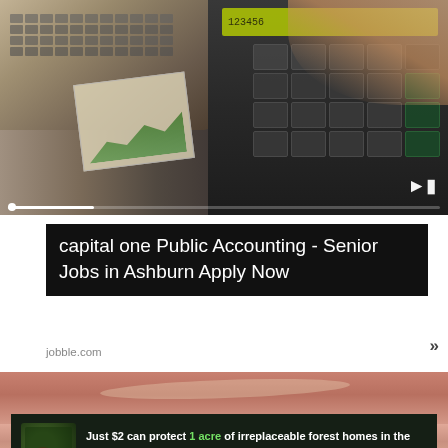[Figure (photo): Close-up photo of a person's hands on a laptop keyboard and calculator, with financial charts in the background. A play button is visible at the bottom right.]
capital one Public Accounting - Senior Jobs in Ashburn Apply Now
jobble.com
[Figure (photo): Close-up photograph of a person's teeth and lips.]
[Figure (infographic): Dark forest-themed banner advertisement: 'Just $2 can protect 1 acre of irreplaceable forest homes in the Amazon. How many acres are you willing to protect?' with a green 'PROTECT FORESTS NOW' button and an image of an orangutan.]